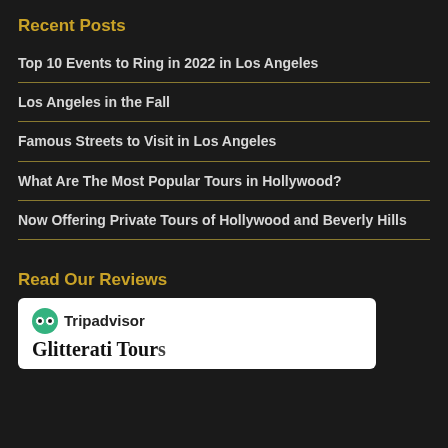Recent Posts
Top 10 Events to Ring in 2022 in Los Angeles
Los Angeles in the Fall
Famous Streets to Visit in Los Angeles
What Are The Most Popular Tours in Hollywood?
Now Offering Private Tours of Hollywood and Beverly Hills
Read Our Reviews
[Figure (logo): Tripadvisor logo with owl icon and 'Glitterati Tours' text below in white box]